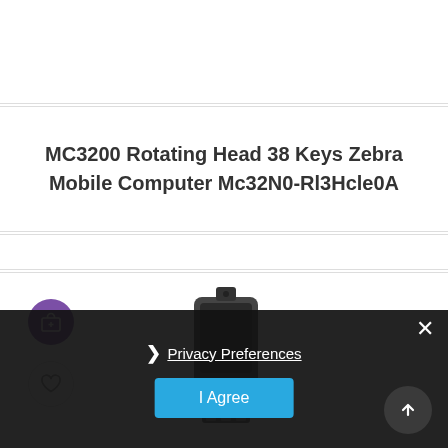[Figure (other): Empty white top section of a webpage]
MC3200 Rotating Head 38 Keys Zebra Mobile Computer Mc32N0-Rl3Hcle0A
[Figure (other): Breadcrumb navigation bar]
[Figure (photo): Product image section showing a Zebra MC3200 mobile computer handheld device, with purple cart button and heart wishlist button]
Privacy Preferences
I Agree